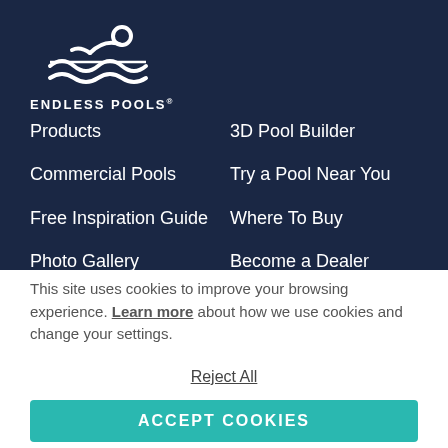[Figure (logo): Endless Pools logo: white swimmer and wave icon above text ENDLESS POOLS]
Products
3D Pool Builder
Commercial Pools
Try a Pool Near You
Free Inspiration Guide
Where To Buy
Photo Gallery
Become a Dealer
Video Gallery
Register a Swim Spa
Terms of Use
About Us
This site uses cookies to improve your browsing experience. Learn more about how we use cookies and change your settings.
Reject All
ACCEPT COOKIES